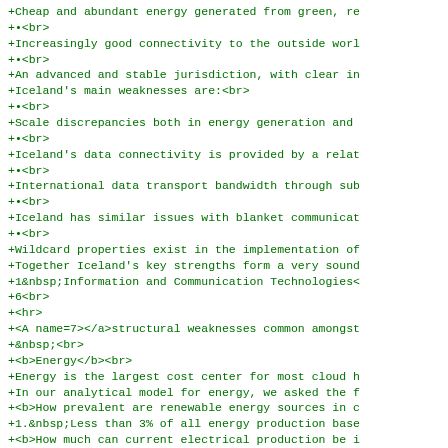+Cheap and abundant energy generated from green, re
+•<br>
+Increasingly good connectivity to the outside worl
+•<br>
+An advanced and stable jurisdiction, with clear in
+Iceland's main weaknesses are:<br>
+•<br>
+Scale discrepancies both in energy generation and
+•<br>
+Iceland's data connectivity is provided by a relat
+•<br>
+International data transport bandwidth through sub
+•<br>
+Iceland has similar issues with blanket communicat
+•<br>
+Wildcard properties exist in the implementation of
+Together Iceland's key strengths form a very sound
+1&nbsp;Information and Communication Technologies<
+6<br>
+<hr>
+<A name=7></a>structural weaknesses common amongst
+&nbsp;<br>
+<b>Energy</b><br>
+Energy is the largest cost center for most cloud h
+In our analytical model for energy, we asked the f
+<b>How prevalent are renewable energy sources in c
+1.&nbsp;Less than 3% of all energy production base
+<b>How much can current electrical production be i
+1.&nbsp;By less than 5% of current average power u
+<b>What is the annual average price per kiloWatt h